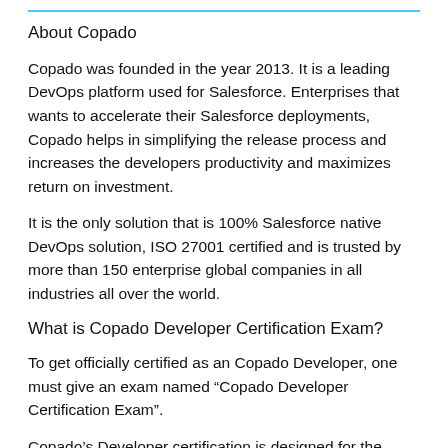About Copado
Copado was founded in the year 2013. It is a leading DevOps platform used for Salesforce. Enterprises that wants to accelerate their Salesforce deployments, Copado helps in simplifying the release process and increases the developers productivity and maximizes return on investment.
It is the only solution that is 100% Salesforce native DevOps solution, ISO 27001 certified and is trusted by more than 150 enterprise global companies in all industries all over the world.
What is Copado Developer Certification Exam?
To get officially certified as an Copado Developer, one must give an exam named “Copado Developer Certification Exam”.
Copado’s Developer certification is designed for the users